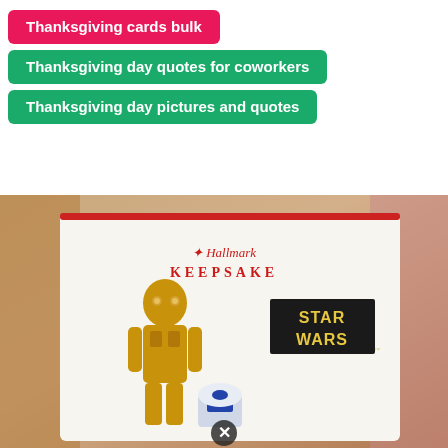Thanksgiving cards bulk
Thanksgiving day quotes for coworkers
Thanksgiving day pictures and quotes
[Figure (photo): Photo of a Hallmark Keepsake Star Wars ornament box featuring C-3PO and R2-D2, with a close button overlay at the bottom center.]